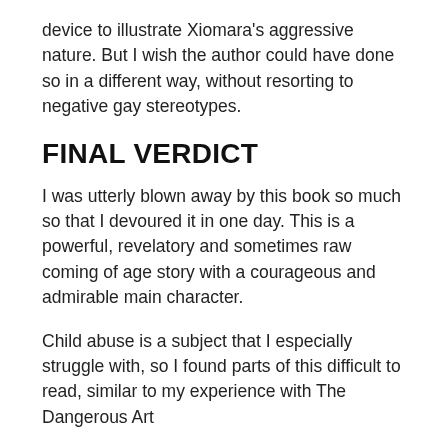device to illustrate Xiomara's aggressive nature. But I wish the author could have done so in a different way, without resorting to negative gay stereotypes.
FINAL VERDICT
I was utterly blown away by this book so much so that I devoured it in one day. This is a powerful, revelatory and sometimes raw coming of age story with a courageous and admirable main character.
Child abuse is a subject that I especially struggle with, so I found parts of this difficult to read, similar to my experience with The Dangerous Art